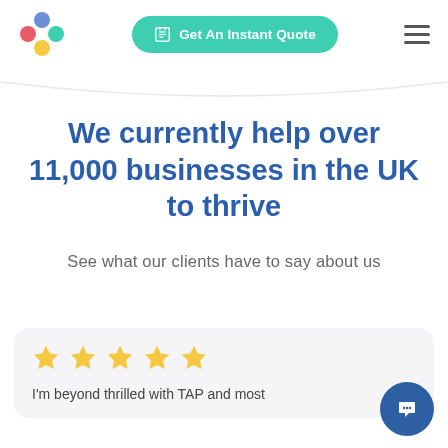[Figure (logo): Colorful flower/asterisk logo with blue, red, teal, and yellow circles]
Get An Instant Quote
We currently help over 11,000 businesses in the UK to thrive
See what our clients have to say about us
[Figure (infographic): Five gold star rating icons]
I'm beyond thrilled with TAP and most